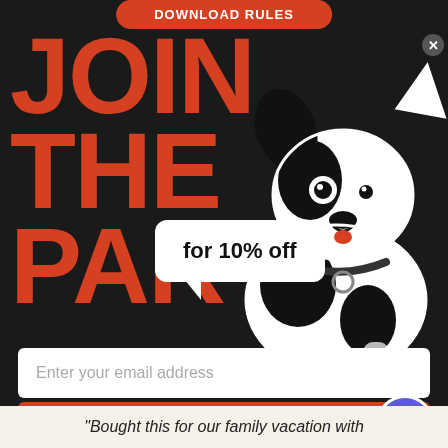DOWNLOAD RULES
JOIN THE PARTY
for 10% off
[Figure (illustration): Black and white line illustration of a Boston Terrier dog sitting, wearing a collar with a tag, looking upward to the right]
Enter your email address
Subscribe
"Bought this for our family vacation with